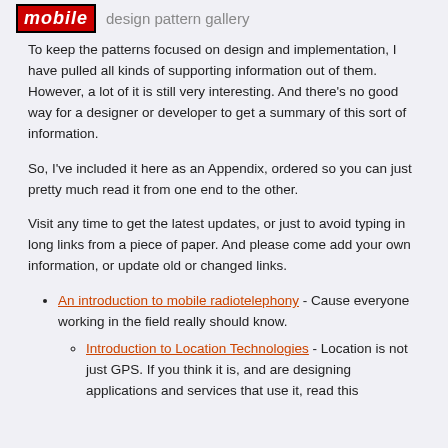mobile design pattern gallery
To keep the patterns focused on design and implementation, I have pulled all kinds of supporting information out of them. However, a lot of it is still very interesting. And there’s no good way for a designer or developer to get a summary of this sort of information.
So, I’ve included it here as an Appendix, ordered so you can just pretty much read it from one end to the other.
Visit any time to get the latest updates, or just to avoid typing in long links from a piece of paper. And please come add your own information, or update old or changed links.
An introduction to mobile radiotelephony - Cause everyone working in the field really should know.
Introduction to Location Technologies - Location is not just GPS. If you think it is, and are designing applications and services that use it, read this